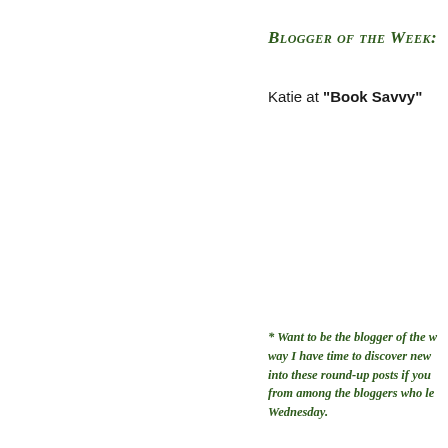Blogger of the Week:
Katie at "Book Savvy"
* Want to be the blogger of the w... way I have time to discover new... into these round-up posts if you... from among the bloggers who le... Wednesday.